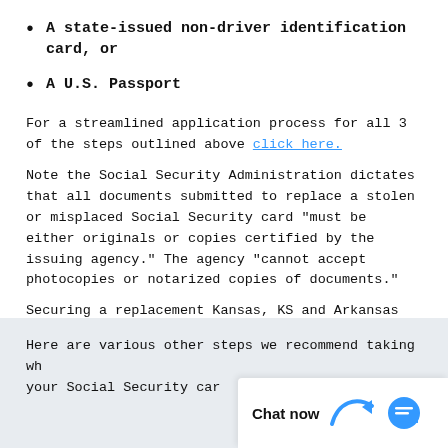A state-issued non-driver identification card, or
A U.S. Passport
For a streamlined application process for all 3 of the steps outlined above click here.
Note the Social Security Administration dictates that all documents submitted to replace a stolen or misplaced Social Security card “must be either originals or copies certified by the issuing agency.” The agency “cannot accept photocopies or notarized copies of documents.”
Securing a replacement Kansas, KS and Arkansas City Social Security card is only part of process.
Here are various other steps we recommend taking wh your Social Security car